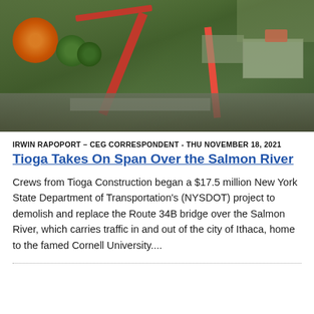[Figure (photo): Aerial drone photograph of a bridge construction site, showing large red cranes, trees with autumn foliage including an orange tree on the left, a road/bridge structure, buildings in the upper right, and a red truck. Green vegetation surrounds the site.]
IRWIN RAPOPORT – CEG CORRESPONDENT - THU NOVEMBER 18, 2021
Tioga Takes On Span Over the Salmon River
Crews from Tioga Construction began a $17.5 million New York State Department of Transportation's (NYSDOT) project to demolish and replace the Route 34B bridge over the Salmon River, which carries traffic in and out of the city of Ithaca, home to the famed Cornell University....